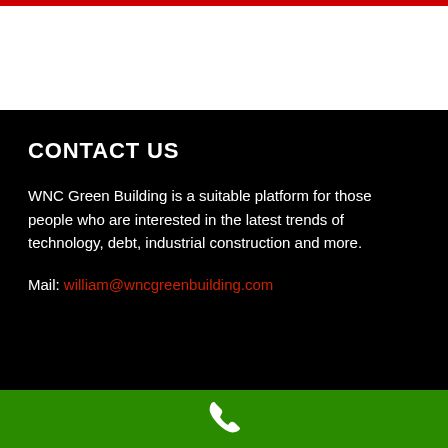CONTACT US
WNC Green Building is a suitable platform for those people who are interested in the latest trends of technology, debt, industrial construction and more.
Mail: william@wncgreenbuilding.com
[Figure (illustration): White phone/call icon on green footer bar]